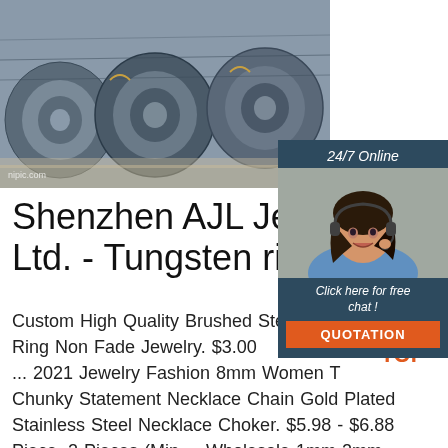[Figure (photo): Coiled steel wire rods stacked outdoors, grey metallic color, with watermark text 'nipic.com' in bottom left]
[Figure (infographic): 24/7 online chat widget showing a smiling woman with headset, dark blue background, 'Click here for free chat!' text, and orange QUOTATION button]
Shenzhen AJL Jewelry Ltd. - Tungsten rings, p
Custom High Quality Brushed Step Edge Zirconium Ring Non Fade Jewelry. $3.00 ... 2021 Jewelry Fashion 8mm Women T Chunky Statement Necklace Chain Gold Plated Stainless Steel Necklace Choker. $5.98 - $6.88 Piece. 2 Pieces (Min ... Wholesale 1mm 2mm 3mm 4mm 5mm 6mm 7mm 8mm 9mm 10mm 12mm Stainless Steel Ring Cores Blank Line ...